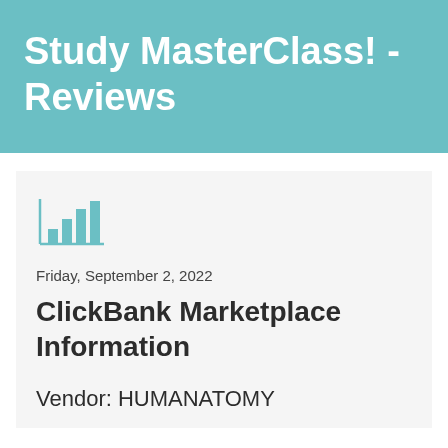Study MasterClass! - Reviews
Friday, September 2, 2022
ClickBank Marketplace Information
Vendor: HUMANATOMY